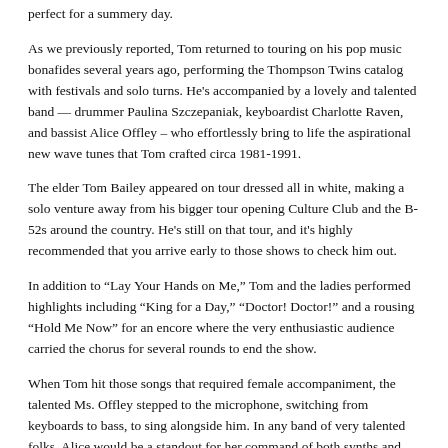perfect for a summery day.
As we previously reported, Tom returned to touring on his pop music bonafides several years ago, performing the Thompson Twins catalog with festivals and solo turns. He's accompanied by a lovely and talented band — drummer Paulina Szczepaniak, keyboardist Charlotte Raven, and bassist Alice Offley – who effortlessly bring to life the aspirational new wave tunes that Tom crafted circa 1981-1991.
The elder Tom Bailey appeared on tour dressed all in white, making a solo venture away from his bigger tour opening Culture Club and the B-52s around the country. He's still on that tour, and it's highly recommended that you arrive early to those shows to check him out.
In addition to “Lay Your Hands on Me,” Tom and the ladies performed highlights including “King for a Day,” “Doctor! Doctor!” and a rousing “Hold Me Now” for an encore where the very enthusiastic audience carried the chorus for several rounds to end the show.
When Tom hit those songs that required female accompaniment, the talented Ms. Offley stepped to the microphone, switching from keyboards to bass, to sing alongside him. In any band of very talented folks, Alice would be a standout for her command of both synths and